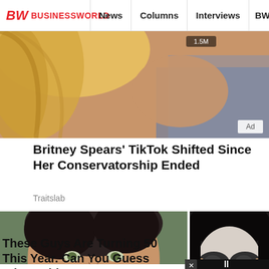BW BUSINESSWORLD | News | Columns | Interviews | BW
[Figure (photo): Close-up photo of a woman with blonde hair and a blue/teal shawl, with a video view count of 1.5M and an Ad label]
Britney Spears' TikTok Shifted Since Her Conservatorship Ended
Traitslab
[Figure (photo): Two side-by-side celebrity photos: left shows a smiling man with dark hair (Paul Rudd), right shows a person wearing reflective aviator sunglasses]
These Guys Are Turning 50 This Year. Can You Guess Who? Old Yet?